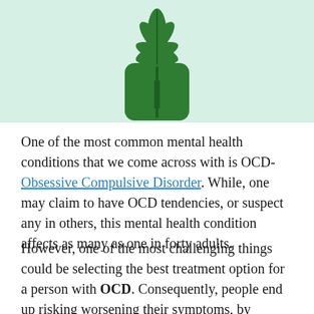[Figure (illustration): Illustration of a cannabis/hemp leaf and plant icon on a light mint green background, centered at the top of the page.]
One of the most common mental health conditions that we come across with is OCD-Obsessive Compulsive Disorder. While, one may claim to have OCD tendencies, or suspect any in others, this mental health condition affects as many as one in forty adults.
However, one of the most challenging things could be selecting the best treatment option for a person with OCD. Consequently, people end up risking worsening their symptoms, by turning to self medication, in an attempt to